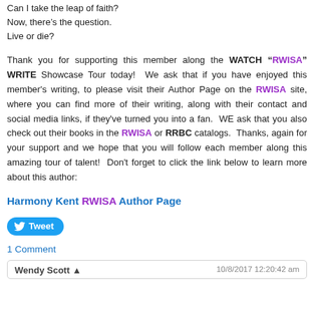Can I take the leap of faith?
Now, there's the question.
Live or die?
Thank you for supporting this member along the WATCH "RWISA" WRITE Showcase Tour today! We ask that if you have enjoyed this member's writing, to please visit their Author Page on the RWISA site, where you can find more of their writing, along with their contact and social media links, if they've turned you into a fan. WE ask that you also check out their books in the RWISA or RRBC catalogs. Thanks, again for your support and we hope that you will follow each member along this amazing tour of talent! Don't forget to click the link below to learn more about this author:
Harmony Kent RWISA Author Page
[Figure (other): Twitter Tweet button]
1 Comment
Wendy Scott · 10/8/2017 12:20:42 am